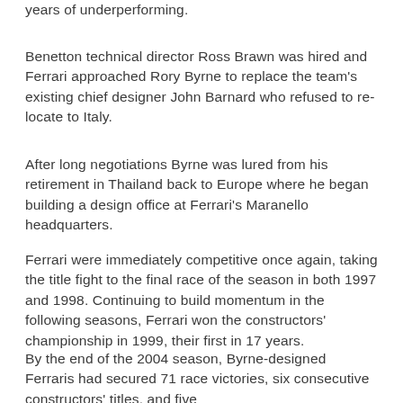years of underperforming.
Benetton technical director Ross Brawn was hired and Ferrari approached Rory Byrne to replace the team's existing chief designer John Barnard who refused to re-locate to Italy.
After long negotiations Byrne was lured from his retirement in Thailand back to Europe where he began building a design office at Ferrari's Maranello headquarters.
Ferrari were immediately competitive once again, taking the title fight to the final race of the season in both 1997 and 1998. Continuing to build momentum in the following seasons, Ferrari won the constructors' championship in 1999, their first in 17 years.
By the end of the 2004 season, Byrne-designed Ferraris had secured 71 race victories, six consecutive constructors' titles, and five